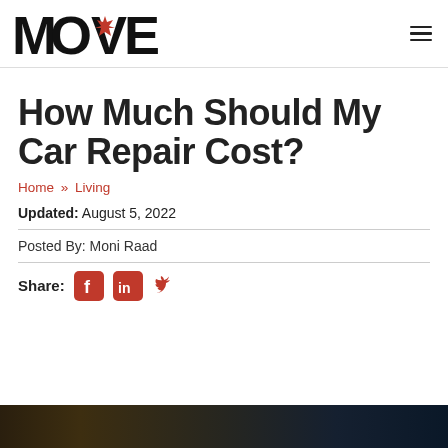MOVE (logo) | hamburger menu
How Much Should My Car Repair Cost?
Home » Living
Updated: August 5, 2022
Posted By: Moni Raad
Share: [Facebook] [LinkedIn] [Twitter]
[Figure (photo): Car repair image strip at bottom of page]